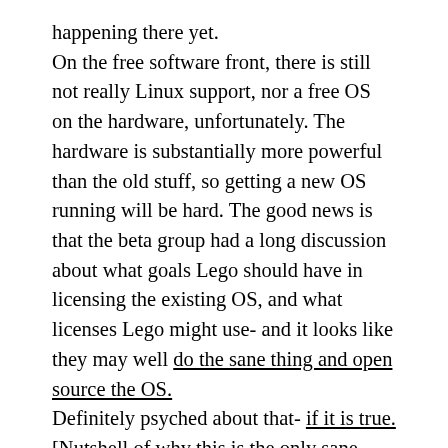happening there yet. On the free software front, there is still not really Linux support, nor a free OS on the hardware, unfortunately. The hardware is substantially more powerful than the old stuff, so getting a new OS running will be hard. The good news is that the beta group had a long discussion about what goals Lego should have in licensing the existing OS, and what licenses Lego might use- and it looks like they may well do the sane thing and open source the OS. Definitely psyched about that- if it is true. [Nutshell of why this is the only sane thing: Lego is (as far as we know) a hardware vendor; they benefit from anything that increases sales and reduces support costs. They don't benefit